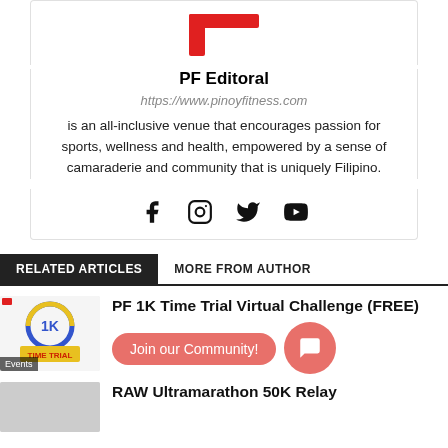[Figure (logo): Pinoy Fitness red logo partial (top of F shape)]
PF Editoral
https://www.pinoyfitness.com
is an all-inclusive venue that encourages passion for sports, wellness and health, empowered by a sense of camaraderie and community that is uniquely Filipino.
[Figure (other): Social media icons: Facebook, Instagram, Twitter, YouTube]
RELATED ARTICLES    MORE FROM AUTHOR
[Figure (other): 1K Time Trial thumbnail with Events badge]
PF 1K Time Trial Virtual Challenge (FREE)
Join our Community!
RAW Ultramarathon 50K Relay